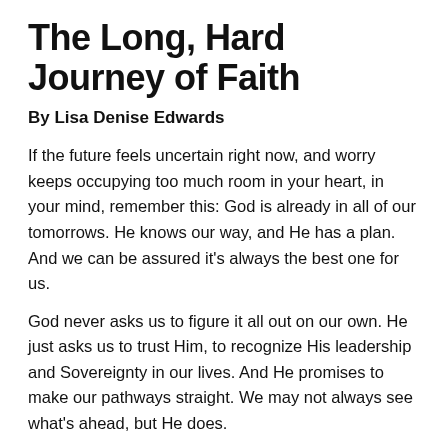The Long, Hard Journey of Faith
By Lisa Denise Edwards
If the future feels uncertain right now, and worry keeps occupying too much room in your heart, in your mind, remember this: God is already in all of our tomorrows. He knows our way, and He has a plan. And we can be assured it's always the best one for us.
God never asks us to figure it all out on our own. He just asks us to trust Him, to recognize His leadership and Sovereignty in our lives. And He promises to make our pathways straight. We may not always see what's ahead, but He does.
“Trust in the Lord completely, and do not rely on your own opinions. With all your heart rely on him to guide